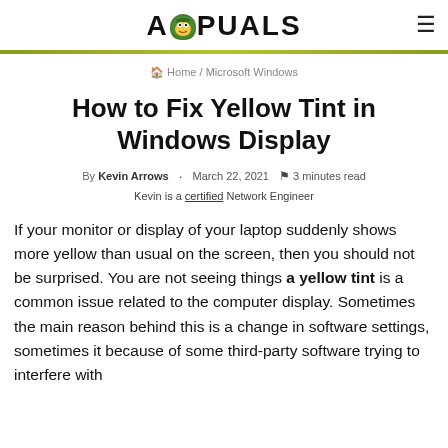APPUALS
Home / Microsoft Windows
How to Fix Yellow Tint in Windows Display
By Kevin Arrows · March 22, 2021 · 3 minutes read
Kevin is a certified Network Engineer
If your monitor or display of your laptop suddenly shows more yellow than usual on the screen, then you should not be surprised. You are not seeing things a yellow tint is a common issue related to the computer display. Sometimes the main reason behind this is a change in software settings, sometimes it because of some third-party software trying to interfere with